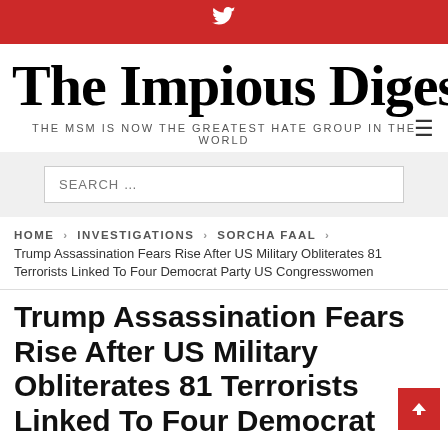Twitter icon bar
The Impious Digest
THE MSM IS NOW THE GREATEST HATE GROUP IN THE WORLD
SEARCH …
HOME > INVESTIGATIONS > SORCHA FAAL > Trump Assassination Fears Rise After US Military Obliterates 81 Terrorists Linked To Four Democrat Party US Congresswomen
Trump Assassination Fears Rise After US Military Obliterates 81 Terrorists Linked To Four Democrat